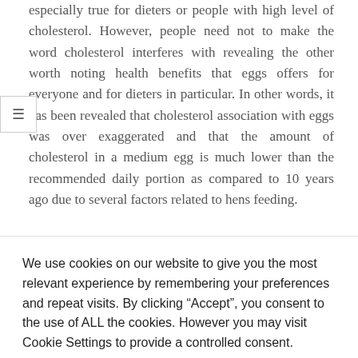especially true for dieters or people with high level of cholesterol. However, people need not to make the word cholesterol interferes with revealing the other worth noting health benefits that eggs offers for everyone and for dieters in particular. In other words, it has been revealed that cholesterol association with eggs was over exaggerated and that the amount of cholesterol in a medium egg is much lower than the recommended daily portion as compared to 10 years ago due to several factors related to hens feeding.
We use cookies on our website to give you the most relevant experience by remembering your preferences and repeat visits. By clicking “Accept”, you consent to the use of ALL the cookies. However you may visit Cookie Settings to provide a controlled consent.
Cookie settings
ACCEPT